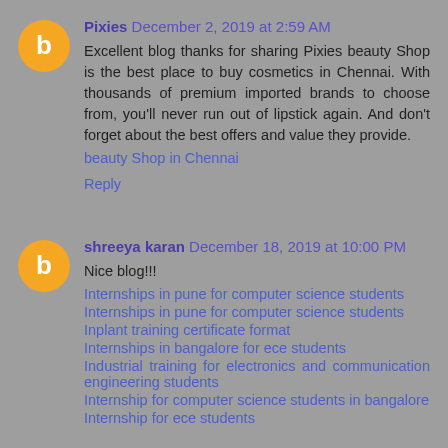Pixies December 2, 2019 at 2:59 AM
Excellent blog thanks for sharing Pixies beauty Shop is the best place to buy cosmetics in Chennai. With thousands of premium imported brands to choose from, you'll never run out of lipstick again. And don't forget about the best offers and value they provide.
beauty Shop in Chennai
Reply
shreeya karan December 18, 2019 at 10:00 PM
Nice blog!!!
Internships in pune for computer science students
Internships in pune for computer science students
Inplant training certificate format
Internships in bangalore for ece students
Industrial training for electronics and communication engineering students
Internship for computer science students in bangalore
Internship for ece students